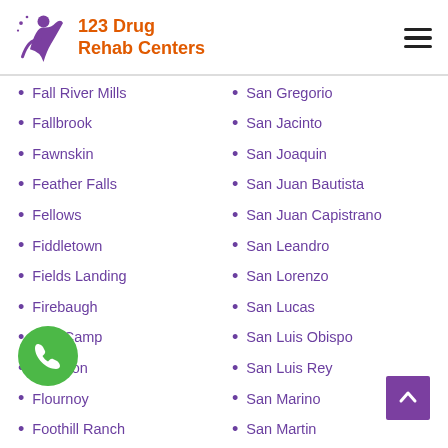123 Drug Rehab Centers
Fall River Mills
Fallbrook
Fawnskin
Feather Falls
Fellows
Fiddletown
Fields Landing
Firebaugh
Fish Camp
Floriston
Flournoy
Foothill Ranch
Forbestown
Forest Falls
San Gregorio
San Jacinto
San Joaquin
San Juan Bautista
San Juan Capistrano
San Leandro
San Lorenzo
San Lucas
San Luis Obispo
San Luis Rey
San Marino
San Martin
San Pablo
San Pedro